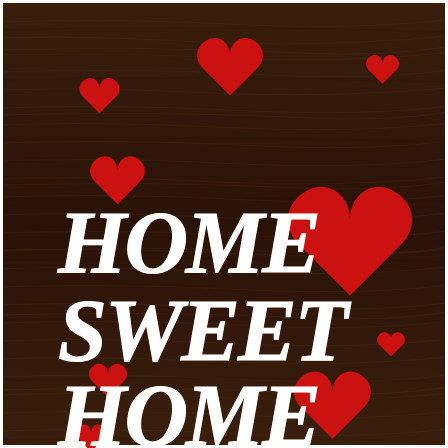[Figure (illustration): Dark wood-grain background with red hearts scattered across the image and white hand-lettered text reading 'HOME SWEET HOME' in three lines, partially cut off at the bottom.]